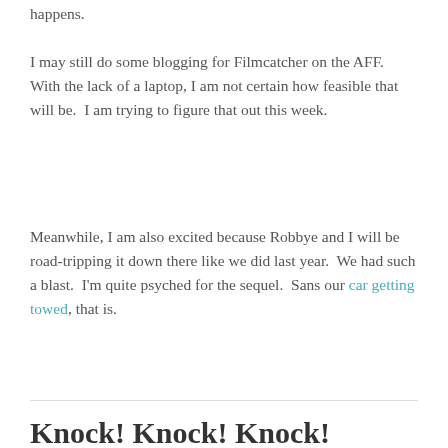happens.
I may still do some blogging for Filmcatcher on the AFF.  With the lack of a laptop, I am not certain how feasible that will be.  I am trying to figure that out this week.
Meanwhile, I am also excited because Robbye and I will be road-tripping it down there like we did last year.  We had such a blast.  I'm quite psyched for the sequel.  Sans our car getting towed, that is.
Knock! Knock! Knock! Housekeeping !